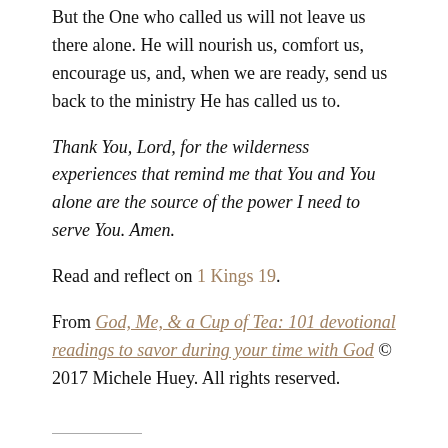But the One who called us will not leave us there alone. He will nourish us, comfort us, encourage us, and, when we are ready, send us back to the ministry He has called us to.
Thank You, Lord, for the wilderness experiences that remind me that You and You alone are the source of the power I need to serve You. Amen.
Read and reflect on 1 Kings 19.
From God, Me, & a Cup of Tea: 101 devotional readings to savor during your time with God © 2017 Michele Huey. All rights reserved.